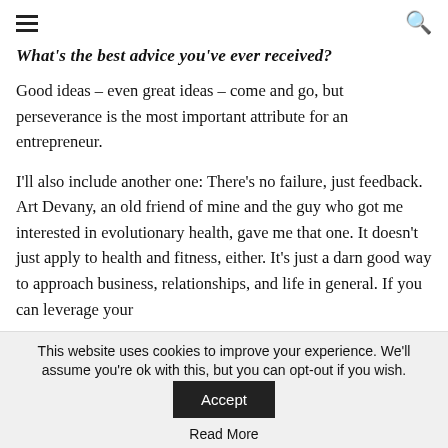≡  🔍
What's the best advice you've ever received?
Good ideas – even great ideas – come and go, but perseverance is the most important attribute for an entrepreneur.
I'll also include another one: There's no failure, just feedback. Art Devany, an old friend of mine and the guy who got me interested in evolutionary health, gave me that one. It doesn't just apply to health and fitness, either. It's just a darn good way to approach business, relationships, and life in general. If you can leverage your
This website uses cookies to improve your experience. We'll assume you're ok with this, but you can opt-out if you wish.
Read More